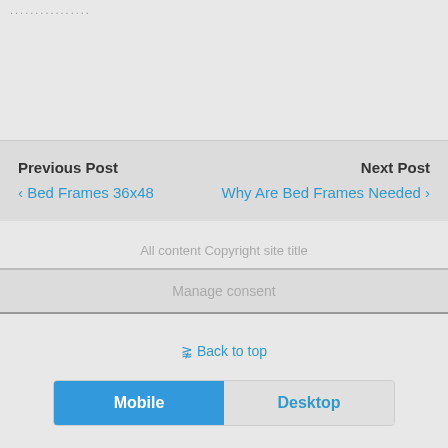................
Previous Post
‹ Bed Frames 36x48
Next Post
Why Are Bed Frames Needed ›
All content Copyright site title
Manage consent
⇈ Back to top
Mobile  Desktop